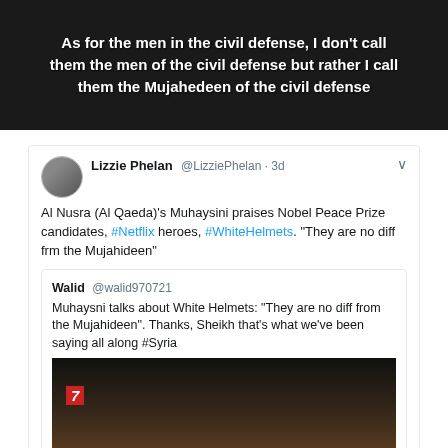[Figure (screenshot): Dark background image with white bold text overlay reading: 'As for the men in the civil defense, I don't call them the men of the civil defense but rather I call them the Mujahedeen of the civil defense']
[Figure (screenshot): Screenshot of a Twitter conversation. Lizzie Phelan (@LizziePhelan, 3d ago) tweets: 'Al Nusra (Al Qaeda)'s Muhaysini praises Nobel Peace Prize candidates, #Netflix heroes, #WhiteHelmets. "They are no diff frm the Mujahideen"'. Quoted tweet from Walid (@walid970721): 'Muhaysni talks about White Helmets: "They are no diff from the Mujahideen". Thanks, Sheikh that's what we've been saying all along #Syria'. Embedded below is a video thumbnail of a man in a red turban with caption 'I don't differentiate between them and these men...' and a red number 7 logo overlay.]